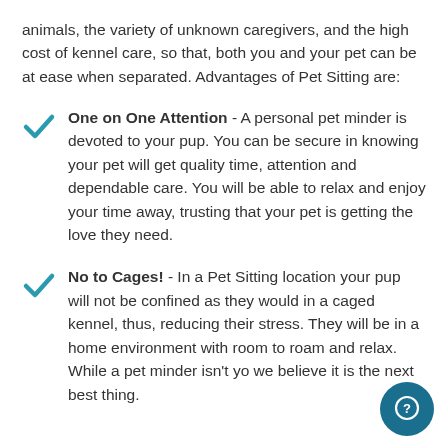animals, the variety of unknown caregivers, and the high cost of kennel care, so that, both you and your pet can be at ease when separated. Advantages of Pet Sitting are:
One on One Attention - A personal pet minder is devoted to your pup. You can be secure in knowing your pet will get quality time, attention and dependable care. You will be able to relax and enjoy your time away, trusting that your pet is getting the love they need.
No to Cages! - In a Pet Sitting location your pup will not be confined as they would in a caged kennel, thus, reducing their stress. They will be in a home environment with room to roam and relax. While a pet minder isn't yo we believe it is the next best thing.